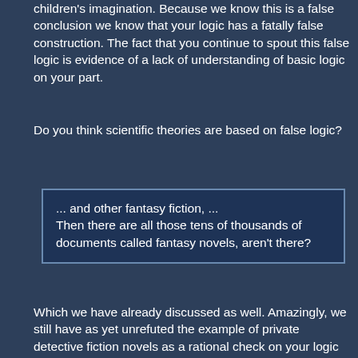children's imagination. Because we know this is a false conclusion we know that your logic has a fatally false construction. The fact that you continue to spout this false logic is evidence of a lack of understanding of basic logic on your part.
Do you think scientific theories are based on false logic?
... and other fantasy fiction, ... Then there are all those tens of thousands of documents called fantasy novels, aren't there?
Which we have already discussed as well. Amazingly, we still have as yet unrefuted the example of private detective fiction novels as a rational check on your logic in using known fictions of this type. By your logic all private detectives are figments of human imagination. Because we know this conclusion to be false we know that your logic has a fatally false construction. The